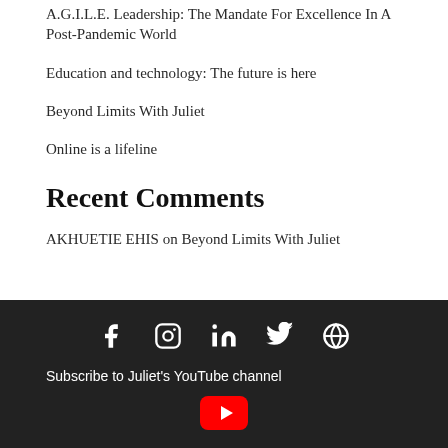A.G.I.L.E. Leadership: The Mandate For Excellence In A Post-Pandemic World
Education and technology: The future is here
Beyond Limits With Juliet
Online is a lifeline
Recent Comments
AKHUETIE EHIS on Beyond Limits With Juliet
[Figure (other): Social media icons: Facebook, Instagram, LinkedIn, Twitter, Globe, and YouTube subscribe button on dark footer background]